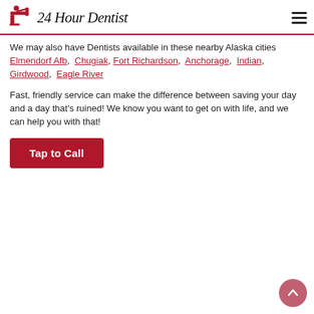24 Hour Dentist
We may also have Dentists available in these nearby Alaska cities Elmendorf Afb, Chugiak, Fort Richardson, Anchorage, Indian, Girdwood, Eagle River
Fast, friendly service can make the difference between saving your day and a day that's ruined! We know you want to get on with life, and we can help you with that!
Tap to Call